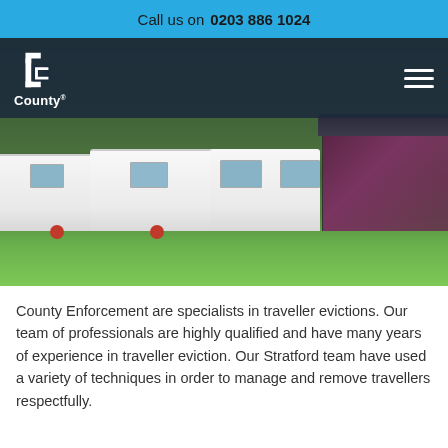Call us on 0203 886 1024
[Figure (photo): Screenshot of County Enforcement website showing a row of white caravans/trailers parked on a green grassy field with hills in background. Navigation bar overlays the top of the image with the County logo on the left and a hamburger menu icon on the right.]
County Enforcement are specialists in traveller evictions. Our team of professionals are highly qualified and have many years of experience in traveller eviction. Our Stratford team have used a variety of techniques in order to manage and remove travellers respectfully.